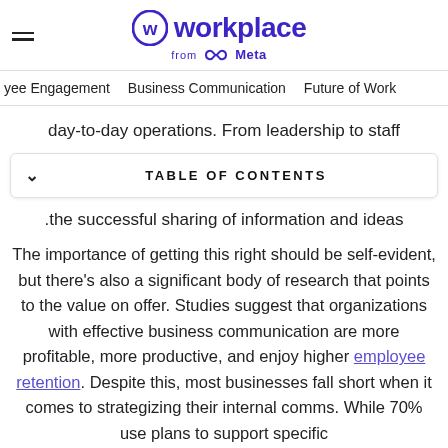Workplace from Meta
yee Engagement   Business Communication   Future of Work
day-to-day operations. From leadership to staff
TABLE OF CONTENTS
.the successful sharing of information and ideas
The importance of getting this right should be self-evident, but there’s also a significant body of research that points to the value on offer. Studies suggest that organizations with effective business communication are more profitable, more productive, and enjoy higher employee retention. Despite this, most businesses fall short when it comes to strategizing their internal comms. While 70% use plans to support specific